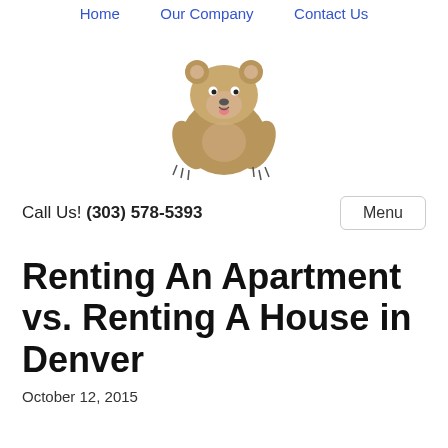Home   Our Company   Contact Us
[Figure (illustration): Cartoon grizzly bear mascot logo, front-facing bear with claws and tongue out]
Call Us! (303) 578-5393   Menu
Renting An Apartment vs. Renting A House in Denver
October 12, 2015